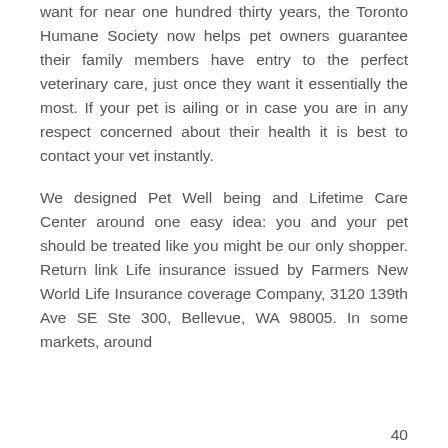want for near one hundred thirty years, the Toronto Humane Society now helps pet owners guarantee their family members have entry to the perfect veterinary care, just once they want it essentially the most. If your pet is ailing or in case you are in any respect concerned about their health it is best to contact your vet instantly.
We designed Pet Well being and Lifetime Care Center around one easy idea: you and your pet should be treated like you might be our only shopper. Return link Life insurance issued by Farmers New World Life Insurance coverage Company, 3120 139th Ave SE Ste 300, Bellevue, WA 98005. In some markets, around
40